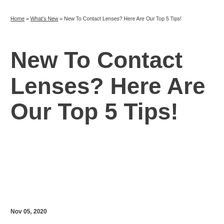Home » What's New » New To Contact Lenses? Here Are Our Top 5 Tips!
New To Contact Lenses? Here Are Our Top 5 Tips!
Nov 05, 2020